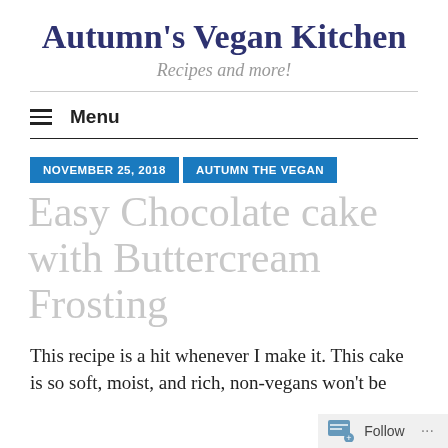Autumn's Vegan Kitchen
Recipes and more!
Menu
NOVEMBER 25, 2018   AUTUMN THE VEGAN
Easy Chocolate cake with Buttercream Frosting
This recipe is a hit whenever I make it. This cake is so soft, moist, and rich, non-vegans won't be
Follow